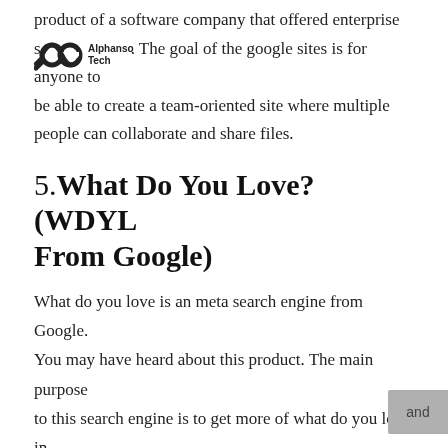Alphanso Tech
product of a software company that offered enterprise services. The goal of the google sites is for anyone to be able to create a team-oriented site where multiple people can collaborate and share files.
5. What Do You Love?(WDYL From Google)
What do you love is an meta search engine from Google. You may have heard about this product. The main purpose to this search engine is to get more of what do you love in searching on various search engines.
6. Google HotPot
Google HotPot included with introduction already information about the location of 50 million businesses and educational and recreational facilities, such as museums,